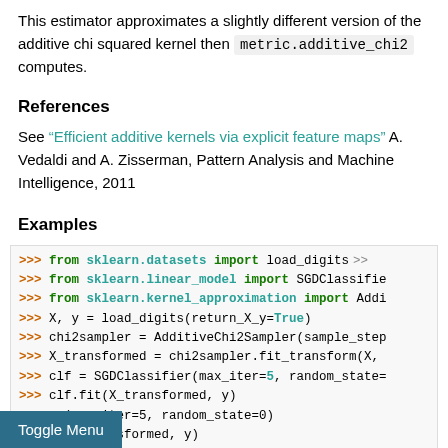This estimator approximates a slightly different version of the additive chi squared kernel then metric.additive_chi2 computes.
References
See "Efficient additive kernels via explicit feature maps" A. Vedaldi and A. Zisserman, Pattern Analysis and Machine Intelligence, 2011
Examples
[Figure (screenshot): Python code block showing >>> from sklearn.datasets import load_digits, >>> from sklearn.linear_model import SGDClassifier, >>> from sklearn.kernel_approximation import Addi..., >>> X, y = load_digits(return_X_y=True), >>> chi2sampler = AdditiveChi2Sampler(sample_step..., >>> X_transformed = chi2sampler.fit_transform(X,..., >>> clf = SGDClassifier(max_iter=5, random_state=..., >>> clf.fit(X_transformed, y), SGDClassifier(max_iter=5, random_state=0), ...re(X_transformed, y)]
Toggle Menu